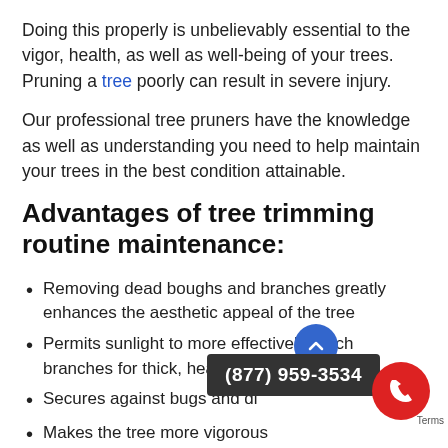Doing this properly is unbelievably essential to the vigor, health, as well as well-being of your trees. Pruning a tree poorly can result in severe injury.
Our professional tree pruners have the knowledge as well as understanding you need to help maintain your trees in the best condition attainable.
Advantages of tree trimming routine maintenance:
Removing dead boughs and branches greatly enhances the aesthetic appeal of the tree
Permits sunlight to more effectively reach branches for thick, healthy growth
Secures against bugs and di...
Makes the tree more vigorous